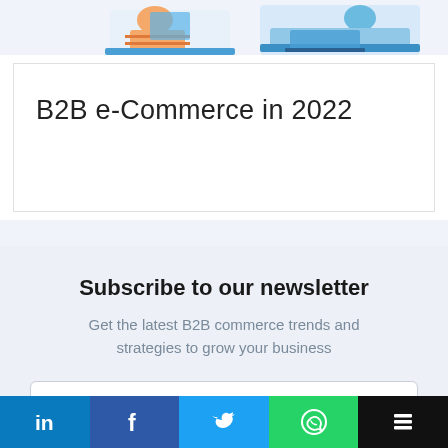[Figure (illustration): Partial illustration showing people working at computers (orange and blue toned figures), cropped at top of page]
B2B e-Commerce in 2022
Subscribe to our newsletter
Get the latest B2B commerce trends and strategies to grow your business
Your name
LinkedIn | Facebook | Twitter | WhatsApp | Buffer